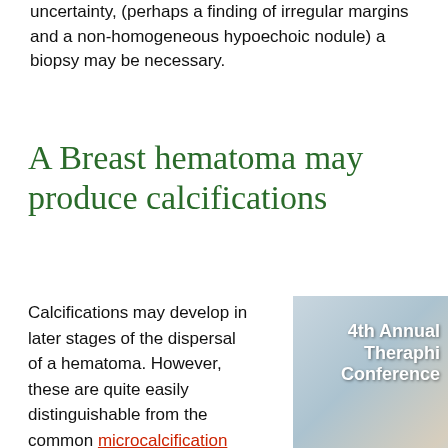uncertainty, (perhaps a finding of irregular margins and a non-homogeneous hypoechoic nodule) a biopsy may be necessary.
A Breast hematoma may produce calcifications
Calcifications may develop in later stages of the dispersal of a hematoma. However, these are quite easily distinguishable from the common microcalcification patterns that occur with ductal carcinoma.
[Figure (photo): Advertisement banner for 4th Annual Theraphi Conference, Kelowna BC Canada, Sept 3-6, 2020, with a group photo background]
Theraphi conference